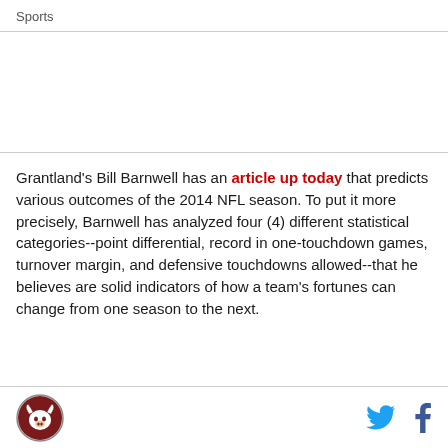Sports
Grantland's Bill Barnwell has an article up today that predicts various outcomes of the 2014 NFL season. To put it more precisely, Barnwell has analyzed four (4) different statistical categories--point differential, record in one-touchdown games, turnover margin, and defensive touchdowns allowed--that he believes are solid indicators of how a team's fortunes can change from one season to the next.
Logo and social sharing icons